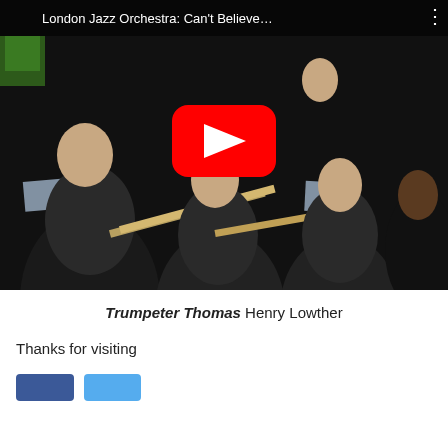[Figure (screenshot): YouTube video thumbnail showing London Jazz Orchestra musicians playing trombones and other brass instruments in a dark concert setting. A red YouTube play button is centered on the image. The video title bar at top reads 'London Jazz Orchestra: Can't Believe...' with a three-dot menu icon.]
Trumpeter Thomas Henry Lowther
Thanks for visiting